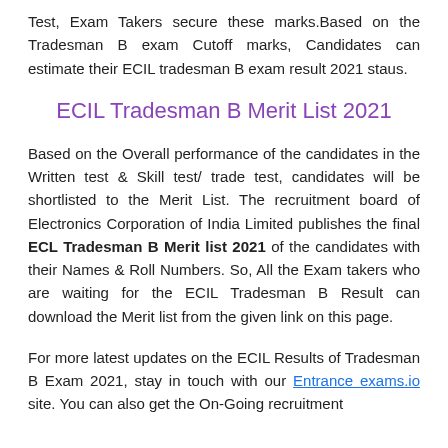Test, Exam Takers secure these marks.Based on the Tradesman B exam Cutoff marks, Candidates can estimate their ECIL tradesman B exam result 2021 staus.
ECIL Tradesman B Merit List 2021
Based on the Overall performance of the candidates in the Written test & Skill test/ trade test, candidates will be shortlisted to the Merit List. The recruitment board of Electronics Corporation of India Limited publishes the final ECL Tradesman B Merit list 2021 of the candidates with their Names & Roll Numbers. So, All the Exam takers who are waiting for the ECIL Tradesman B Result can download the Merit list from the given link on this page.
For more latest updates on the ECIL Results of Tradesman B Exam 2021, stay in touch with our Entrance exams.io site. You can also get the On-Going recruitment